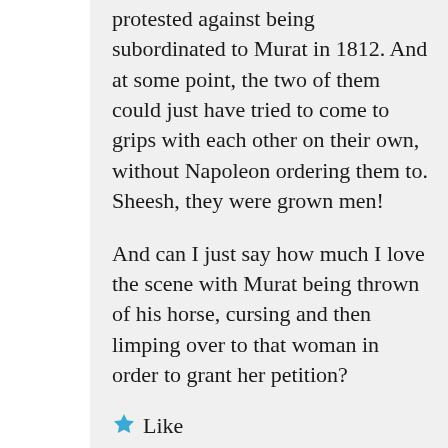protested against being subordinated to Murat in 1812. And at some point, the two of them could just have tried to come to grips with each other on their own, without Napoleon ordering them to. Sheesh, they were grown men!
And can I just say how much I love the scene with Murat being thrown of his horse, cursing and then limping over to that woman in order to grant her petition?
★ Like